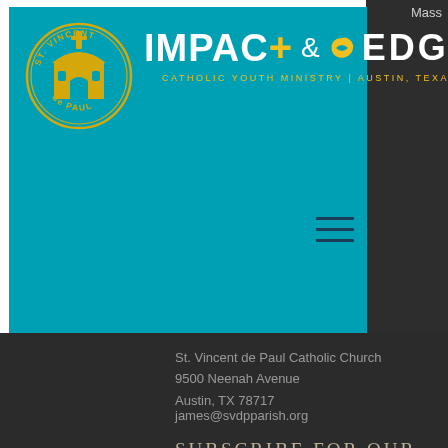[Figure (logo): IMPACT+ & EDGE Catholic Youth Ministry banner logo with St. Vincent de Paul circular emblem on teal background]
St. Vincent de Paul Catholic Church
9500 Neenah Avenue
Austin, TX 78717
james@svdpparish.org
SUBSCRIBE FOR OUR EMAIL NEWSLETTER
Email Address
Subscribe Now